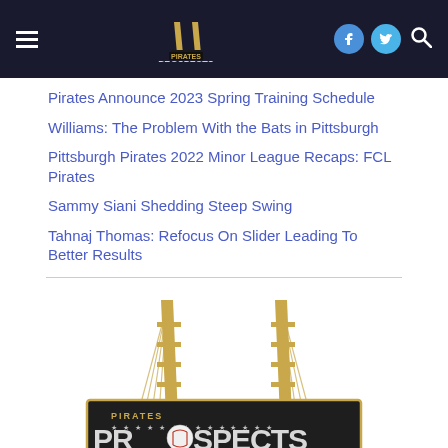Pirates Prospects navigation bar with logo, hamburger menu, social icons and search
Pirates Announce 2023 Spring Training Schedule
Williams: The Problem With the Bats in Pittsburgh
Pittsburgh Pirates 2022 Minor League Recaps: FCL Pirates
Sammy Siani Shedding Steep Swing
Tahnaj Thomas: Refocus On Slider Leading To Better Results
[Figure (logo): Pirates Prospects logo — golden suspension bridge towers above a dark rectangular badge reading PIRATES ★★★★★★★★★★★★★★ PROSPECTS with a baseball in the O]
PREMIUM